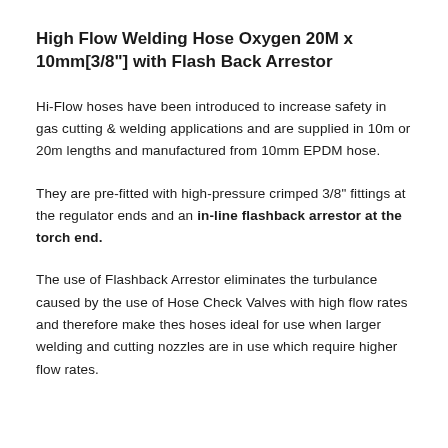High Flow Welding Hose Oxygen 20M x 10mm[3/8"] with Flash Back Arrestor
Hi-Flow hoses have been introduced to increase safety in gas cutting & welding applications and are supplied in 10m or 20m lengths and manufactured from 10mm EPDM hose.
They are pre-fitted with high-pressure crimped 3/8" fittings at the regulator ends and an in-line flashback arrestor at the torch end.
The use of Flashback Arrestor eliminates the turbulance caused by the use of Hose Check Valves with high flow rates and therefore make thes hoses ideal for use when larger welding and cutting nozzles are in use which require higher flow rates.